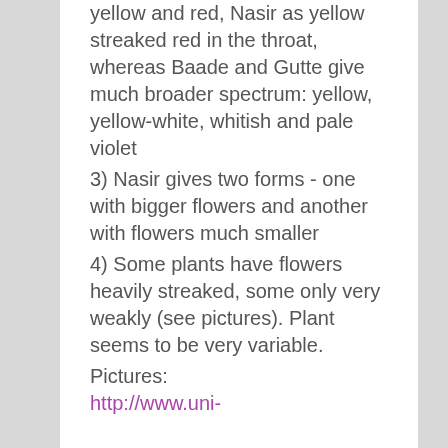yellow and red, Nasir as yellow streaked red in the throat, whereas Baade and Gutte give much broader spectrum: yellow, yellow-white, whitish and pale violet
3) Nasir gives two forms - one with bigger flowers and another with flowers much smaller
4) Some plants have flowers heavily streaked, some only very weakly (see pictures). Plant seems to be very variable.
Pictures:
http://www.uni-